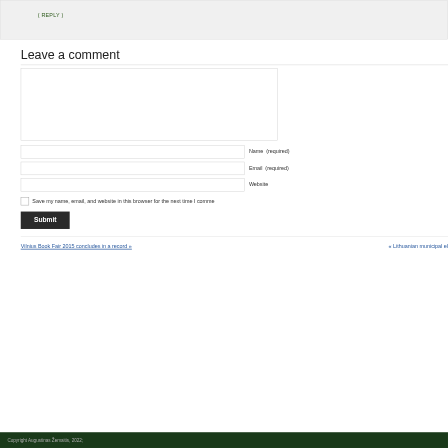( REPLY )
Leave a comment
Name  (required)
Email  (required)
Website
Save my name, email, and website in this browser for the next time I comme
Submit
Vilnius Book Fair 2015 concludes in a record »
« Lithuanian municipal el
Copyright Augustinas Žemaitis, 2022;